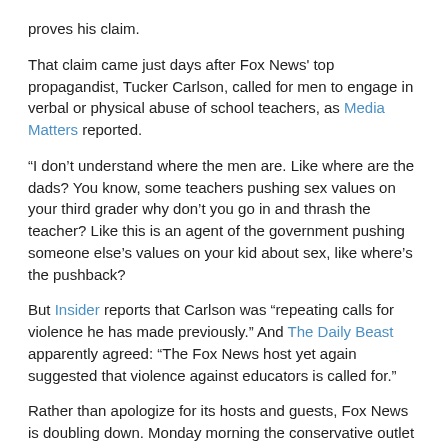proves his claim.
That claim came just days after Fox News' top propagandist, Tucker Carlson, called for men to engage in verbal or physical abuse of school teachers, as Media Matters reported.
“I don’t understand where the men are. Like where are the dads? You know, some teachers pushing sex values on your third grader why don’t you go in and thrash the teacher? Like this is an agent of the government pushing someone else’s values on your kid about sex, like where’s the pushback?
But Insider reports that Carlson was “repeating calls for violence he has made previously.” And The Daily Beast apparently agreed: “The Fox News host yet again suggested that violence against educators is called for.”
Rather than apologize for its hosts and guests, Fox News is doubling down. Monday morning the conservative outlet published an article claiming: “CNN, Washington Post, Vice and more fret that Republicans are worried about child grooming, pedophilia.”
On Twitter, Media Matters Matthew Gertz adds to points he made in his article.
“The idea—